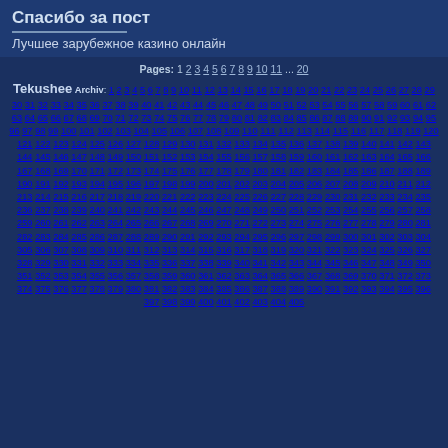Спасибо за пост
Лучшее зарубежное казино онлайн
Pages: 1 2 3 4 5 6 7 8 9 10 11 ... 20
Tekushee Archiv: 1 2 3 4 5 6 7 8 9 10 11 12 13 14 15 16 17 18 19 20 21 22 23 24 25 26 27 28 29 30 31 32 33 34 35 36 37 38 39 40 41 42 43 44 45 46 47 48 49 50 51 52 53 54 55 56 57 58 59 60 61 62 63 64 65 66 67 68 69 70 71 72 73 74 75 76 77 78 79 80 81 82 83 84 85 86 87 88 89 90 91 92 93 94 95 96 97 98 99 100 101 102 103 104 105 106 107 108 109 110 111 112 113 114 115 116 117 118 119 120 121 122 123 124 125 126 127 128 129 130 131 132 133 134 135 136 137 138 139 140 141 142 143 144 145 146 147 148 149 150 151 152 153 154 155 156 157 158 159 160 161 162 163 164 165 166 167 168 169 170 171 172 173 174 175 176 177 178 179 180 181 182 183 184 185 186 187 188 189 190 191 192 193 194 195 196 197 198 199 200 201 202 203 204 205 206 207 208 209 210 211 212 213 214 215 216 217 218 219 220 221 222 223 224 225 226 227 228 229 230 231 232 233 234 235 236 237 238 239 240 241 242 243 244 245 246 247 248 249 250 251 252 253 254 255 256 257 258 259 260 261 262 263 264 265 266 267 268 269 270 271 272 273 274 275 276 277 278 279 280 281 282 283 284 285 286 287 288 289 290 291 292 293 294 295 296 297 298 299 300 301 302 303 304 305 306 307 308 309 310 311 312 313 314 315 316 317 318 319 320 321 322 323 324 325 326 327 328 329 330 331 332 333 334 335 336 337 338 339 340 341 342 343 344 345 346 347 348 349 350 351 352 353 354 355 356 357 358 359 360 361 362 363 364 365 366 367 368 369 370 371 372 373 374 375 376 377 378 379 380 381 382 383 384 385 386 387 388 389 390 391 392 393 394 395 396 397 398 399 400 401 402 403 404 405